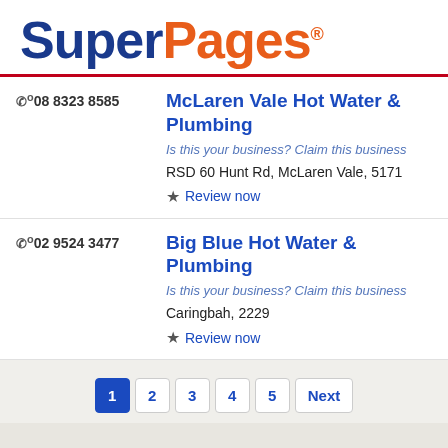[Figure (logo): SuperPages logo with 'Super' in dark blue bold and 'Pages' in orange bold, with registered trademark symbol]
08 8323 8585
McLaren Vale Hot Water & Plumbing
Is this your business? Claim this business
RSD 60 Hunt Rd, McLaren Vale, 5171
Review now
02 9524 3477
Big Blue Hot Water & Plumbing
Is this your business? Claim this business
Caringbah, 2229
Review now
1 2 3 4 5 Next